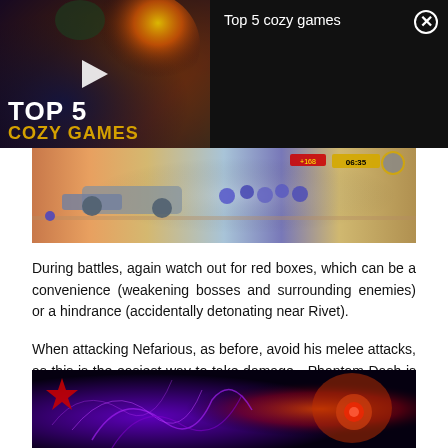[Figure (screenshot): Video thumbnail showing 'TOP 5 COZY GAMES' with play button overlay and title panel showing 'Top 5 cozy games' with close button on dark background]
[Figure (screenshot): Game screenshot showing colorful battle scene with characters racing/fighting in a sci-fi environment with HUD elements]
During battles, again watch out for red boxes, which can be a convenience (weakening bosses and surrounding enemies) or a hindrance (accidentally detonating near Rivet).
When attacking Nefarious, as before, avoid his melee attacks, as this is the easiest way to take damage - Phantom Dash is the universal solution to this problem.
[Figure (screenshot): Dark game scene with purple/blue energy effects and an orange/red mechanical enemy character visible on the right side]